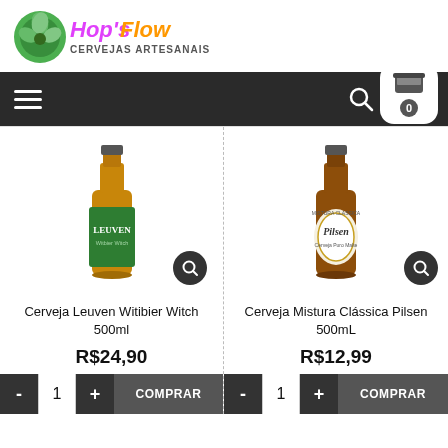[Figure (logo): Hop's Flow Cervejas Artesanais logo with green hop illustration and stylized text]
[Figure (screenshot): Dark navigation bar with hamburger menu, search icon, and shopping cart showing 0 items]
[Figure (photo): Bottle of Cerveja Leuven Witibier Witch 500ml with green label showing a witch character]
Cerveja Leuven Witibier Witch 500ml
R$24,90
[Figure (photo): Bottle of Cerveja Mistura Clássica Pilsen 500mL with round gold label]
Cerveja Mistura Clássica Pilsen 500mL
R$12,99